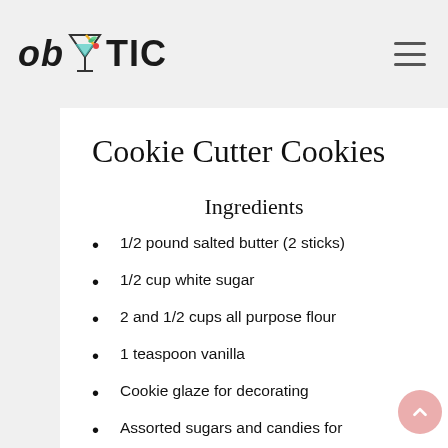ob Y TIC [logo with martini glass icon and hamburger menu]
Cookie Cutter Cookies
Ingredients
1/2 pound salted butter (2 sticks)
1/2 cup white sugar
2 and 1/2 cups all purpose flour
1 teaspoon vanilla
Cookie glaze for decorating
Assorted sugars and candies for